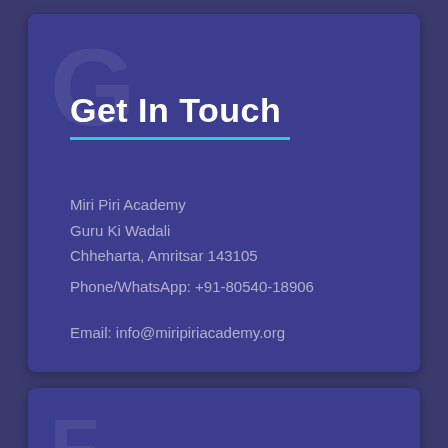Get In Touch
Miri Piri Academy
Guru Ki Wadali
Chheharta, Amritsar 143105
Phone/WhatsApp: +91-80540-18906
Email: info@miripiriacademy.org
Follow MPA